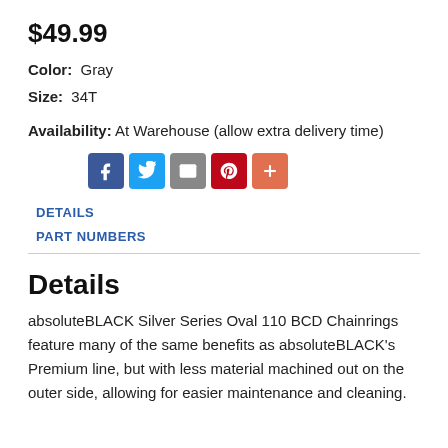$49.99
Color: Gray
Size: 34T
Availability: At Warehouse (allow extra delivery time)
[Figure (infographic): Social sharing buttons: Facebook (blue), Twitter (blue), Email (gray), Pinterest (red), More/Plus (orange-red)]
DETAILS
PART NUMBERS
Details
absoluteBLACK Silver Series Oval 110 BCD Chainrings feature many of the same benefits as absoluteBLACK's Premium line, but with less material machined out on the outer side, allowing for easier maintenance and cleaning.